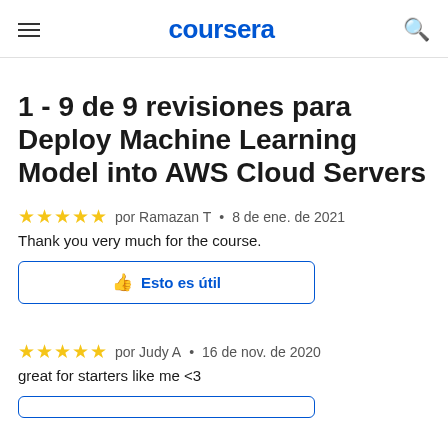coursera
1 - 9 de 9 revisiones para Deploy Machine Learning Model into AWS Cloud Servers
★★★★★ por Ramazan T • 8 de ene. de 2021
Thank you very much for the course.
Esto es útil
★★★★★ por Judy A • 16 de nov. de 2020
great for starters like me <3